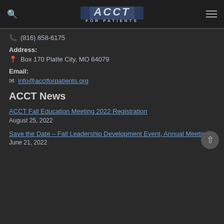ACCT FOR PATIENTS — header with search icon, logo, and menu icon
☎ (816) 858-6175
Address:
📍 Box 170 Platte City, MO 64079
Email:
info@acctforpatients.org
ACCT News
ACCT Fall Education Meeting 2022 Registration
August 25, 2022
Save the Date – Fall Leadership Development Event, Annual Meeting
June 21, 2022